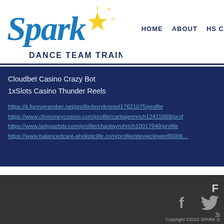[Figure (logo): Spark Dance Team Training logo with cursive blue and green 'Spark' text and yellow star graphic, with 'DANCE TEAM TRAINING' in dark navy bold text beneath]
HOME   ABOUT   HS C
Cloudbet Casino Crazy Bot
1xSlots Casino Thunder Reels
https://it.foreveramber.net/profile/terryknesel17621075/profile
https://www.clomoneycosmo.com/profile/caritajennrich12415968/prof
https://www.ladypartstv.com/profile/chantayrohrich10017949/profile
https://www.balancedcare-aholisticlife.com/profile/stevieclinger80006…
F  [Facebook icon] [Twitter icon]  Te  Copyright (C)2022 SPARK D